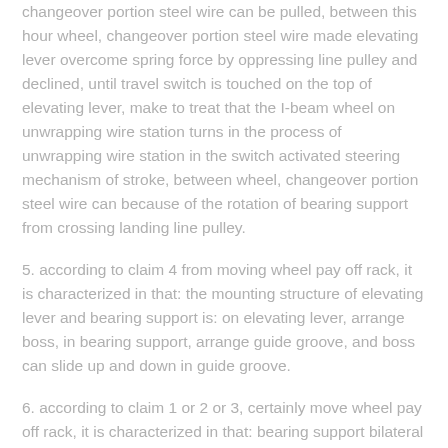changeover portion steel wire can be pulled, between this hour wheel, changeover portion steel wire made elevating lever overcome spring force by oppressing line pulley and declined, until travel switch is touched on the top of elevating lever, make to treat that the I-beam wheel on unwrapping wire station turns in the process of unwrapping wire station in the switch activated steering mechanism of stroke, between wheel, changeover portion steel wire can because of the rotation of bearing support from crossing landing line pulley.
5. according to claim 4 from moving wheel pay off rack, it is characterized in that: the mounting structure of elevating lever and bearing support is: on elevating lever, arrange boss, in bearing support, arrange guide groove, and boss can slide up and down in guide groove.
6. according to claim 1 or 2 or 3, certainly move wheel pay off rack, it is characterized in that: bearing support bilateral symmetry is provided with two installing racks, and the central axis being fixed on the I-beam wheel on two installing racks point-blank.
7. according to claim 4 from moving wheel pay off rack, it